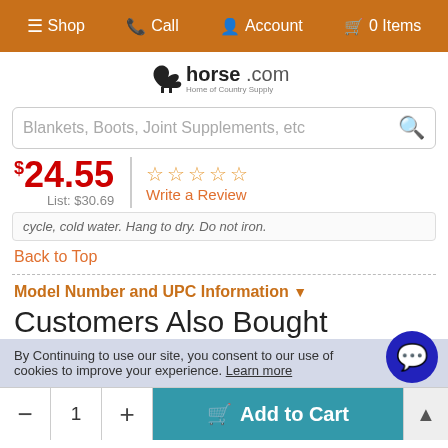Shop  Call  Account  0 Items
[Figure (logo): Horse.com logo with horse silhouette and tagline 'Home of Country Supply']
Blankets, Boots, Joint Supplements, etc (search bar placeholder)
$24.55  List: $30.69  ☆☆☆☆☆  Write a Review
cycle, cold water. Hang to dry. Do not iron.
Back to Top
Model Number and UPC Information ▾
Customers Also Bought
By Continuing to use our site, you consent to our use of cookies to improve your experience. Learn more
- 1 + Add to Cart ▲